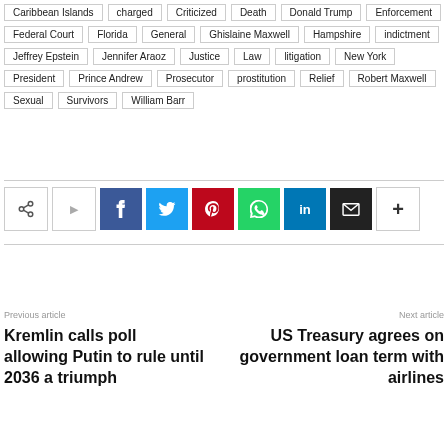Caribbean Islands
charged
Criticized
Death
Donald Trump
Enforcement
Federal Court
Florida
General
Ghislaine Maxwell
Hampshire
indictment
Jeffrey Epstein
Jennifer Araoz
Justice
Law
litigation
New York
President
Prince Andrew
Prosecutor
prostitution
Relief
Robert Maxwell
Sexual
Survivors
William Barr
[Figure (other): Social share buttons: share icon, Facebook, Twitter, Pinterest, WhatsApp, LinkedIn, Email, More]
Previous article
Kremlin calls poll allowing Putin to rule until 2036 a triumph
Next article
US Treasury agrees on government loan term with airlines